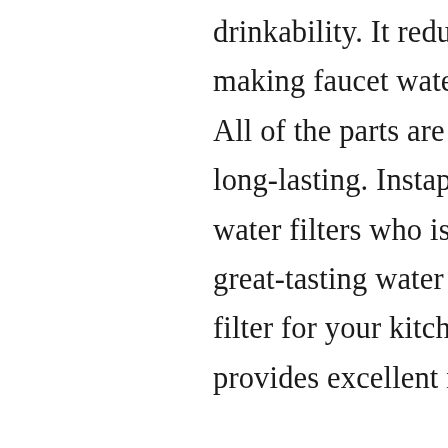drinkability. It reduces any sort of bad taste, making faucet water far better tasting than before. All of the parts are tested and certified safe and long-lasting. Instapure is a reputable creator of water filters who is dedicated to making clean, great-tasting water accessible to everyone. This filter for your kitchen faucet is made to last and provides excellent results for years to come.